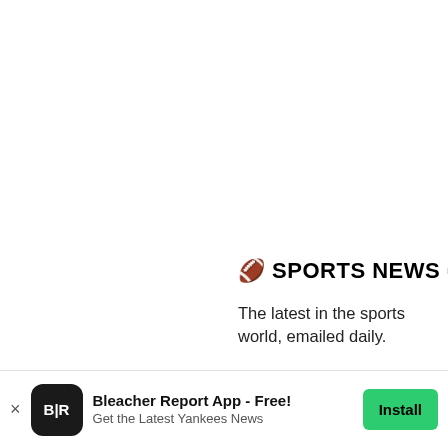There'
25-plu
It's the
wasn't
conce

That m
with S
J.T. Re
🏈 SPORTS NEWS ➡ YOUR INBOX
The latest in the sports world, emailed daily.
Join Newsletter
Maybe Later
[Figure (screenshot): Bleacher Report app icon — dark rounded square with B|R text in white]
Bleacher Report App - Free!
Get the Latest Yankees News
Install